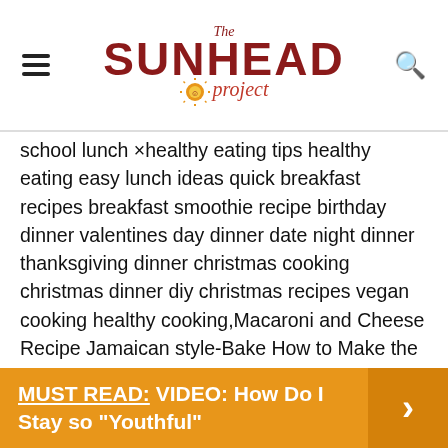The Sunhead Project
school lunch ×healthy eating tips healthy eating easy lunch ideas quick breakfast recipes breakfast smoothie recipe birthday dinner valentines day dinner date night dinner thanksgiving dinner christmas cooking christmas dinner diy christmas recipes vegan cooking healthy cooking,Macaroni and Cheese Recipe Jamaican style-Bake How to Make the Ultimate Macaroni and Cheese Martha Stewart Macaroni and Cheese Recipe – Tom Jefferson's Mac and Cheese Southern Baked Macaroni & Cheese Recipe (Updated) Corn beef sandwich, cooking .
MUST READ:  VIDEO: How Do I Stay so "Youthful"